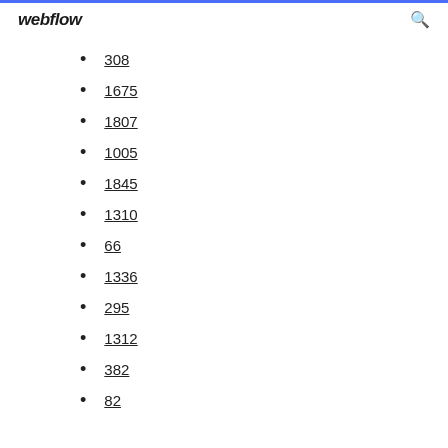webflow
308
1675
1807
1005
1845
1310
66
1336
295
1312
382
82